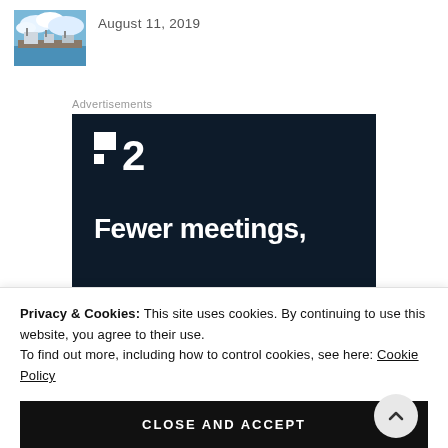[Figure (photo): Thumbnail photo of a marina with boats and blue sky with clouds]
August 11, 2019
Advertisements
[Figure (screenshot): Advertisement banner with dark navy background showing F2 logo and text 'Fewer meetings,']
Privacy & Cookies: This site uses cookies. By continuing to use this website, you agree to their use.
To find out more, including how to control cookies, see here: Cookie Policy
CLOSE AND ACCEPT